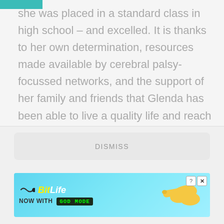she was placed in a standard class in high school – and excelled. It is thanks to her own determination, resources made available by cerebral palsy-focussed networks, and the support of her family and friends that Glenda has been able to live a quality life and reach great heights.
[Figure (screenshot): Modal overlay with a DISMISS button and a BitLife 'NOW WITH GOD MODE' advertisement banner]